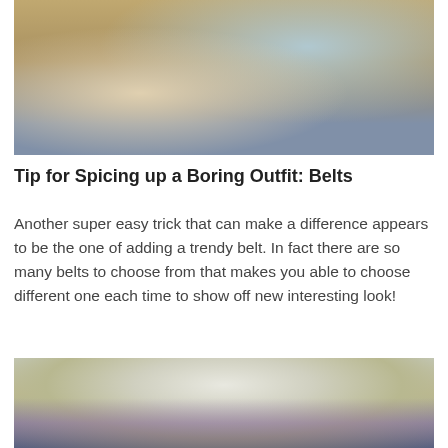[Figure (photo): Close-up photo of a person in a beige coat holding a patterned bag with gold hardware, with a blue winter background.]
Tip for Spicing up a Boring Outfit: Belts
Another super easy trick that can make a difference appears to be the one of adding a trendy belt. In fact there are so many belts to choose from that makes you able to choose different one each time to show off new interesting look!
[Figure (photo): Close-up photo of a person's torso wearing a white top and decorated belt with jeweled buckle, hands on hips with rings and bracelets.]